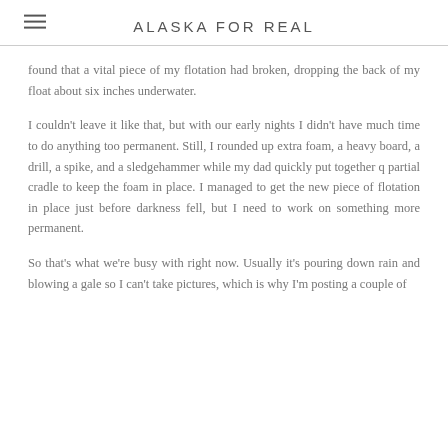ALASKA FOR REAL
found that a vital piece of my flotation had broken, dropping the back of my float about six inches underwater.
I couldn't leave it like that, but with our early nights I didn't have much time to do anything too permanent. Still, I rounded up extra foam, a heavy board, a drill, a spike, and a sledgehammer while my dad quickly put together q partial cradle to keep the foam in place. I managed to get the new piece of flotation in place just before darkness fell, but I need to work on something more permanent.
So that's what we're busy with right now. Usually it's pouring down rain and blowing a gale so I can't take pictures, which is why I'm posting a couple of